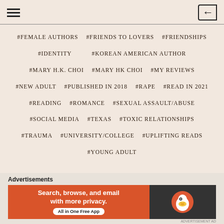≡  [←
#FEMALE AUTHORS
#FRIENDS TO LOVERS
#FRIENDSHIPS
#IDENTITY
#KOREAN AMERICAN AUTHOR
#MARY H.K. CHOI
#MARY HK CHOI
#MY REVIEWS
#NEW ADULT
#PUBLISHED IN 2018
#RAPE
#READ IN 2021
#READING
#ROMANCE
#SEXUAL ASSAULT/ABUSE
#SOCIAL MEDIA
#TEXAS
#TOXIC RELATIONSHIPS
#TRAUMA
#UNIVERSITY/COLLEGE
#UPLIFTING READS
#YOUNG ADULT
[Figure (infographic): DuckDuckGo advertisement banner: orange section with text 'Search, browse, and email with more privacy. All in One Free App' and dark section with DuckDuckGo duck logo]
Advertisements
ADVERTISEMENT AD